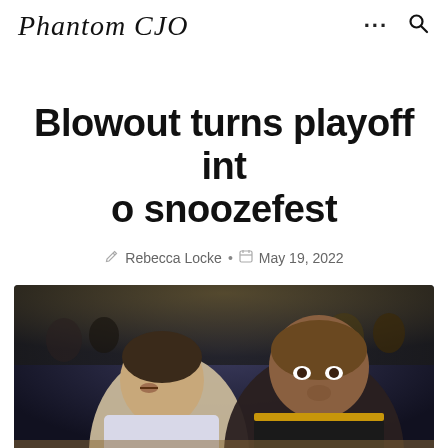Phantom CJO
Blowout turns playoff into snoozefest
Rebecca Locke • May 19, 2022
[Figure (photo): Two NBA basketball players on court — one in a white jersey (left) and one in a black jersey with gold trim (right) — with a crowd in the background.]